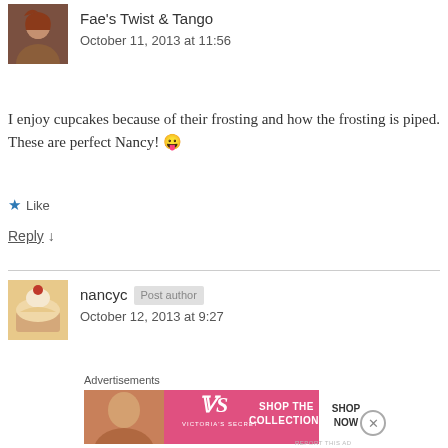[Figure (photo): Avatar photo of Fae's Twist & Tango commenter, woman with reddish hair]
Fae's Twist & Tango
October 11, 2013 at 11:56
I enjoy cupcakes because of their frosting and how the frosting is piped. These are perfect Nancy! 😛
★ Like
Reply ↓
[Figure (photo): Avatar photo of nancyc commenter, cupcake image]
nancyc [Post author]
October 12, 2013 at 9:27
Advertisements
[Figure (photo): Victoria's Secret advertisement banner: SHOP THE COLLECTION / SHOP NOW]